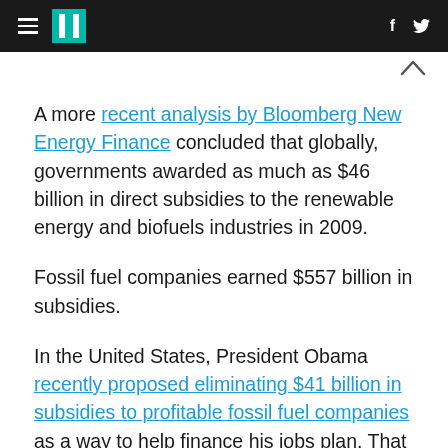HuffPost navigation with hamburger menu, logo, facebook and twitter icons
A more recent analysis by Bloomberg New Energy Finance concluded that globally, governments awarded as much as $46 billion in direct subsidies to the renewable energy and biofuels industries in 2009.
Fossil fuel companies earned $557 billion in subsidies.
In the United States, President Obama recently proposed eliminating $41 billion in subsidies to profitable fossil fuel companies as a way to help finance his jobs plan. That drew swift